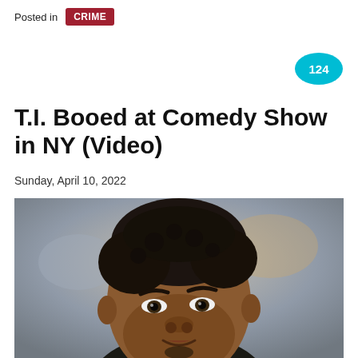Posted in CRIME
[Figure (other): Cyan speech bubble with the number 124 inside]
T.I. Booed at Comedy Show in NY (Video)
Sunday, April 10, 2022
[Figure (photo): Close-up photo of a Black man with short curly hair looking upward, wearing a dark hoodie with a yellow-green collar visible, blurred background]